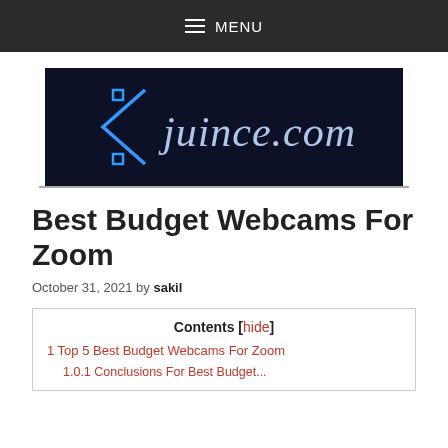MENU
[Figure (logo): juince.com logo on dark navy background with blue arrow/bracket graphic on left]
Best Budget Webcams For Zoom
October 31, 2021 by sakil
Contents [hide]
1 Top 5 Best Budget Webcams For Zoom
1.0.1 Conclusions For Best Budget...